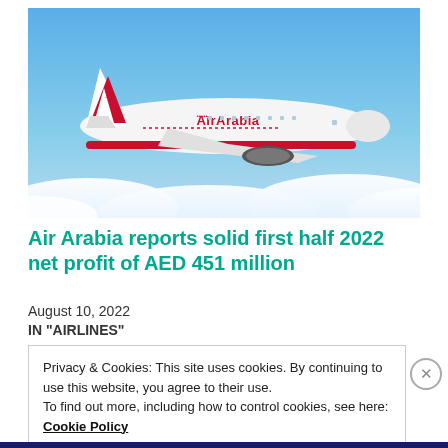[Figure (photo): Air Arabia commercial airplane (white with red markings and Air Arabia logo) flying against a blue sky with clouds below]
Air Arabia reports solid first half 2022 net profit of AED 451 million
August 10, 2022
IN "AIRLINES"
Privacy & Cookies: This site uses cookies. By continuing to use this website, you agree to their use.
To find out more, including how to control cookies, see here: Cookie Policy
Close and accept